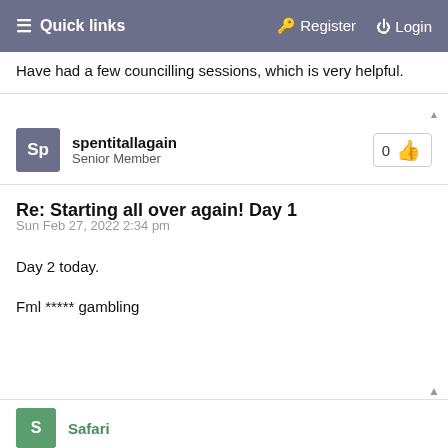Quick links  Register  Login
Have had a few councilling sessions, which is very helpful.
spentitallagain
Senior Member
Re: Starting all over again! Day 1
Sun Feb 27, 2022 2:34 pm
Day 2 today.

Fml ***** gambling
Safari